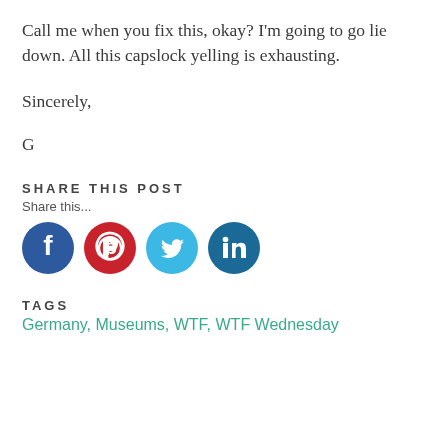Call me when you fix this, okay? I'm going to go lie down. All this capslock yelling is exhausting.
Sincerely,
G
SHARE THIS POST
Share this...
[Figure (infographic): Four social media share buttons in circles: Facebook (dark blue), Pinterest (red), Twitter (light blue), LinkedIn (dark blue)]
TAGS
Germany, Museums, WTF, WTF Wednesday